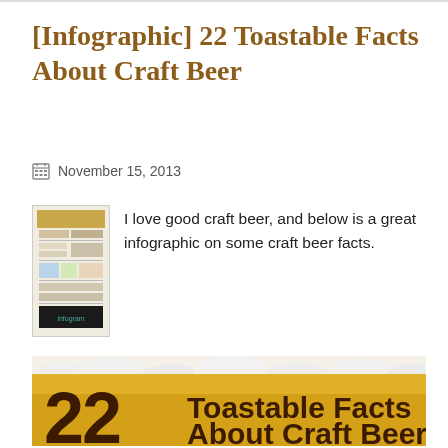[Infographic] 22 Toastable Facts About Craft Beer
November 15, 2013
[Figure (infographic): Thumbnail preview of the 22 Toastable Facts About Craft Beer infographic]
I love good craft beer, and below is a great infographic on some craft beer facts.
[Figure (infographic): Banner header of the infographic showing '22 Toastable Facts About Craft Beer' text on a golden beer background with foam at top]